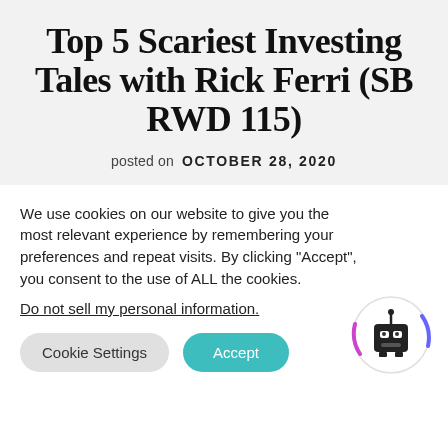Top 5 Scariest Investing Tales with Rick Ferri (SB RWD 115)
posted on OCTOBER 28, 2020
We use cookies on our website to give you the most relevant experience by remembering your preferences and repeat visits. By clicking "Accept", you consent to the use of ALL the cookies.
Do not sell my personal information.
Cookie Settings   Accept
[Figure (logo): Robot/bot icon with circular purple and blue decorative ring around it]